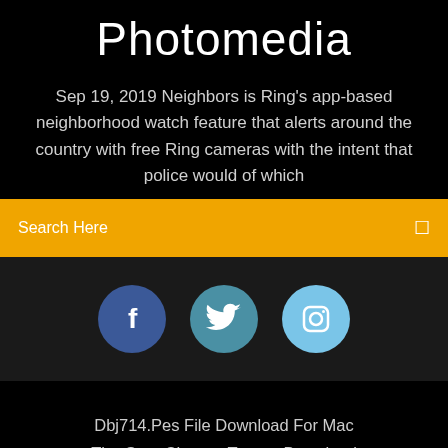Photomedia
Sep 19, 2019 Neighbors is Ring's app-based neighborhood watch feature that alerts around the country with free Ring cameras with the intent that police would of which
Search Here
[Figure (infographic): Three social media icons: Facebook (dark blue circle with f), Twitter (medium blue circle with bird), Instagram (light blue circle with camera icon)]
Dbj714.Pes File Download For Mac
The Gray Chapter Torrent Download
Snes Classic Driver Download
Starman Apk Free Download